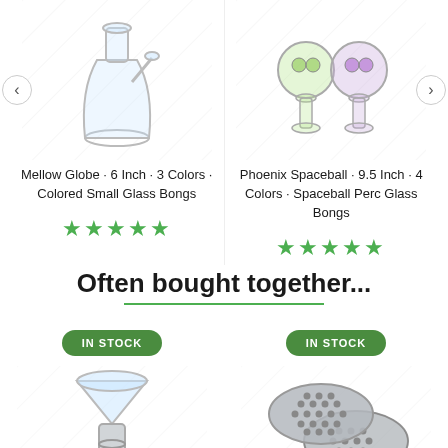[Figure (photo): Product image: Mellow Globe glass bong]
[Figure (photo): Product image: Phoenix Spaceball glass bong]
Mellow Globe · 6 Inch · 3 Colors · Colored Small Glass Bongs
Phoenix Spaceball · 9.5 Inch · 4 Colors · Spaceball Perc Glass Bongs
★★★★★
★★★★★
Often bought together...
IN STOCK
[Figure (photo): Product image: glass bowl/slide piece]
IN STOCK
[Figure (photo): Product image: metal screens/filters]